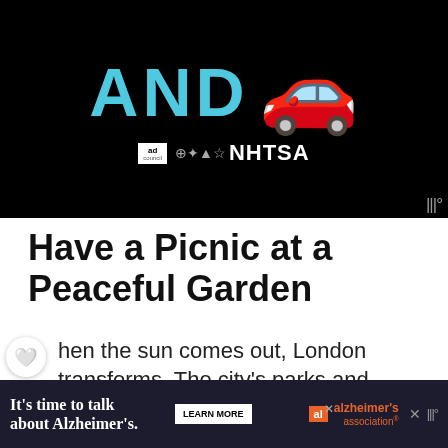[Figure (screenshot): Black advertisement banner showing large teal 'AND' text with a red car emoji and ad council/NHTSA logos at bottom]
Have a Picnic at a Peaceful Garden
When the sun comes out, London transforms. The city's parks and gardens come to life as people flock to find the nearest patch of green. Places like Hyde
[Figure (screenshot): Thumbnail image of trees/park for '8 Fabulous London...' article]
WHAT'S NEXT → 8 Fabulous London...
[Figure (screenshot): Bottom advertisement banner: It's time to talk about Alzheimer's. LEARN MORE. Alzheimer's Association logo.]